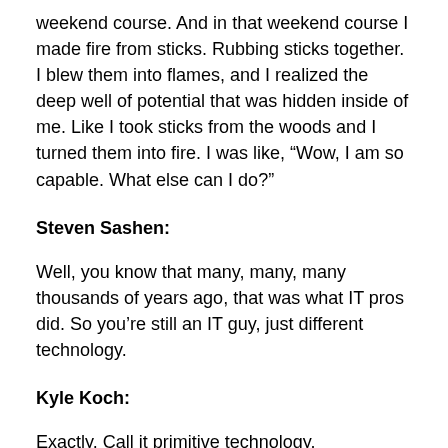weekend course. And in that weekend course I made fire from sticks. Rubbing sticks together. I blew them into flames, and I realized the deep well of potential that was hidden inside of me. Like I took sticks from the woods and I turned them into fire. I was like, “Wow, I am so capable. What else can I do?”
Steven Sashen:
Well, you know that many, many, many thousands of years ago, that was what IT pros did. So you’re still an IT guy, just different technology.
Kyle Koch:
Exactly. Call it primitive technology.
Steven Sashen: